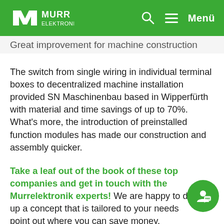MURR ELEKTRONIK — Menü
Great improvement for machine construction
The switch from single wiring in individual terminal boxes to decentralized machine installation provided SN Maschinenbau based in Wipperfürth with material and time savings of up to 70%. What's more, the introduction of preinstalled function modules has made our construction and assembly quicker.
Take a leaf out of the book of these top companies and get in touch with the Murrelektronik experts! We are happy to draw up a concept that is tailored to your needs and point out where you can save money.